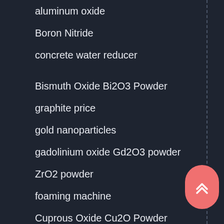aluminum oxide
Boron Nitride
concrete water reducer
Bismuth Oxide Bi2O3 Powder
graphite price
gold nanoparticles
gadolinium oxide Gd2O3 powder
ZrO2 powder
foaming machine
Cuprous Oxide Cu2O Powder
silicon powder
Copper Iodide price